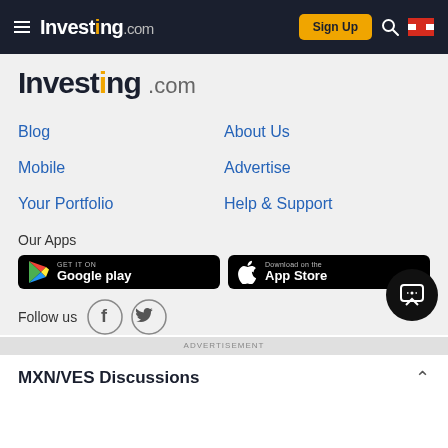Investing.com — Sign Up
[Figure (logo): Investing.com logo in large text, bold black with .com in gray]
Blog
About Us
Mobile
Advertise
Your Portfolio
Help & Support
Our Apps
[Figure (other): Google Play badge — GET IT ON Google play]
[Figure (other): Apple App Store badge — Download on the App Store]
Follow us
[Figure (other): Facebook and Twitter social media icons]
ADVERTISEMENT
MXN/VES Discussions